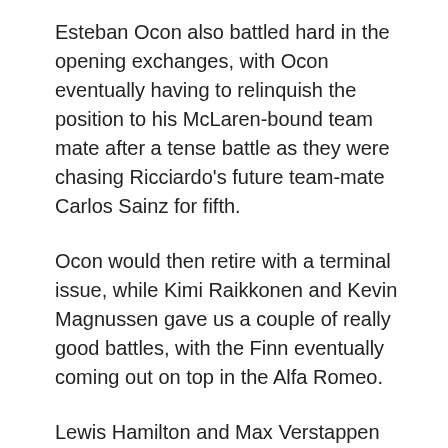Esteban Ocon also battled hard in the opening exchanges, with Ocon eventually having to relinquish the position to his McLaren-bound team mate after a tense battle as they were chasing Ricciardo's future team-mate Carlos Sainz for fifth.
Ocon would then retire with a terminal issue, while Kimi Raikkonen and Kevin Magnussen gave us a couple of really good battles, with the Finn eventually coming out on top in the Alfa Romeo.
Lewis Hamilton and Max Verstappen pitted almost in tandem with each other, both re-joining in front of Verstappen's team mate Alex Albon, demoralisingly for the Thai-British driver.